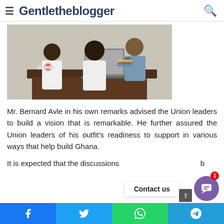Gentletheblogger
[Figure (photo): Two men seated facing a third man behind a desk with a laptop open; appears to be an office meeting. One visitor wears a white shirt with a 'Union of Ghana' logo/badge.]
Mr. Bernard Avle in his own remarks advised the Union leaders to build a vision that is remarkable. He further assured the Union leaders of his outfit's readiness to support in various ways that help build Ghana.
It is expected that the discussions b